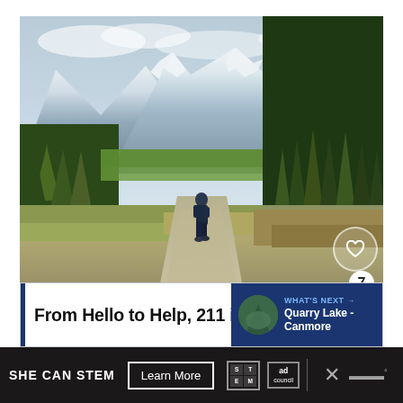[Figure (photo): Person walking away on a gravel path surrounded by pine trees and snow-capped mountains in the background. A scenic mountain landscape with green forests and cloudy sky.]
From Hello to Help, 211 is H...
WHAT'S NEXT → Quarry Lake - Canmore
SHE CAN STEM  Learn More